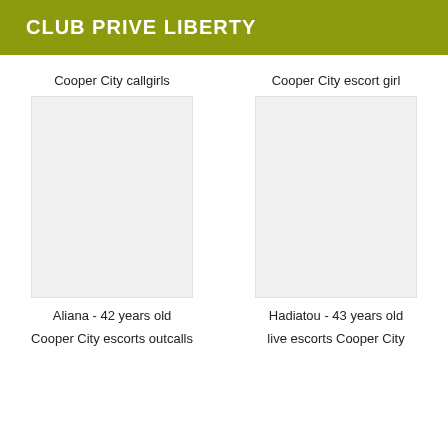CLUB PRIVE LIBERTY
Cooper City callgirls
Cooper City escort girl
[Figure (photo): Photo placeholder for Aliana]
[Figure (photo): Photo placeholder for Hadiatou]
Aliana - 42 years old
Hadiatou - 43 years old
Cooper City escorts outcalls
live escorts Cooper City